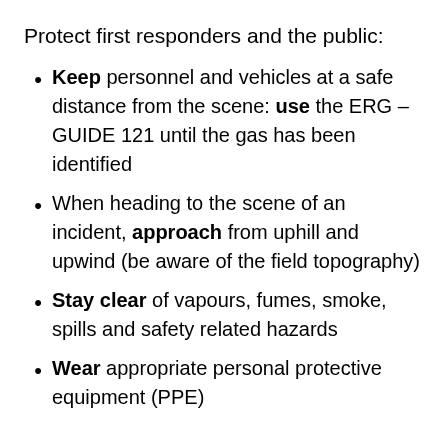Protect first responders and the public:
Keep personnel and vehicles at a safe distance from the scene: use the ERG – GUIDE 121 until the gas has been identified
When heading to the scene of an incident, approach from uphill and upwind (be aware of the field topography)
Stay clear of vapours, fumes, smoke, spills and safety related hazards
Wear appropriate personal protective equipment (PPE)